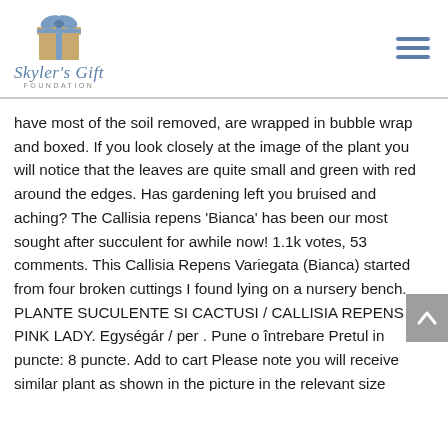Skyler's Gift Foundation
have most of the soil removed, are wrapped in bubble wrap and boxed. If you look closely at the image of the plant you will notice that the leaves are quite small and green with red around the edges. Has gardening left you bruised and aching? The Callisia repens 'Bianca' has been our most sought after succulent for awhile now! 1.1k votes, 53 comments. This Callisia Repens Variegata (Bianca) started from four broken cuttings I found lying on a nursery bench. PLANTE SUCULENTE SI CACTUSI / CALLISIA REPENS PINK LADY. Egységár / per . Pune o întrebare Pretul in puncte: 8 puncte. Add to cart Please note you will receive similar plant as shown in the picture in the relevant size selected. Also a good plant for terrariums. Please set your store before adding product to cart? Momentan Indisponibil 7.50...